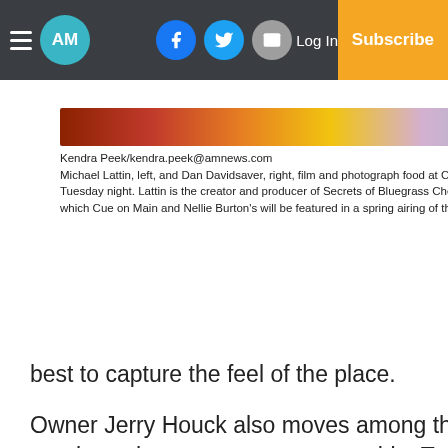AM | Log In | Subscribe
[Figure (photo): A food/restaurant photo with warm orange tones at Cue on Main]
Kendra Peek/kendra.peek@amnews.com Michael Lattin, left, and Dan Davidsaver, right, film and photograph food at Cue on Main Tuesday night. Lattin is the creator and producer of Secrets of Bluegrass Chefs, on which Cue on Main and Nellie Burton's will be featured in a spring airing of the show.
tables and the bar, filming and photographing food as it leaves the kitchen, and doing their best to capture the feel of the place.
Owner Jerry Houck also moves among the tables, greeting regulars who came out to support him Tuesday night, in